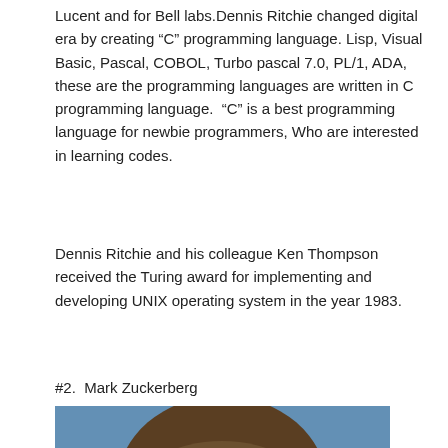Lucent and for Bell labs.Dennis Ritchie changed digital era by creating “C” programming language. Lisp, Visual Basic, Pascal, COBOL, Turbo pascal 7.0, PL/1, ADA, these are the programming languages are written in C programming language.  “C” is a best programming language for newbie programmers, Who are interested in learning codes.
Dennis Ritchie and his colleague Ken Thompson received the Turing award for implementing and developing UNIX operating system in the year 1983.
#2.  Mark Zuckerberg
[Figure (photo): Photo of Mark Zuckerberg, a young man with curly brown hair, looking forward. Background is blurred blue and grey.]